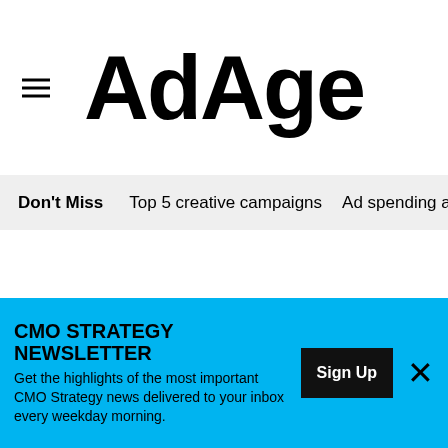AdAge
Don't Miss   Top 5 creative campaigns   Ad spending ana
[Figure (logo): DigitalNext button with arrow circle on black background]
HOW MARKETERS CAN IMPROVE
CMO STRATEGY NEWSLETTER
Get the highlights of the most important CMO Strategy news delivered to your inbox every weekday morning.